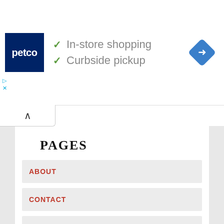[Figure (infographic): Petco advertisement banner showing Petco logo, checkmarks for In-store shopping and Curbside pickup, and a navigation/direction icon]
ABOUT
CONTACT
PRIVACY POLICY GDPR
STAFF
TERMS AND CONDITIONS
PAGES